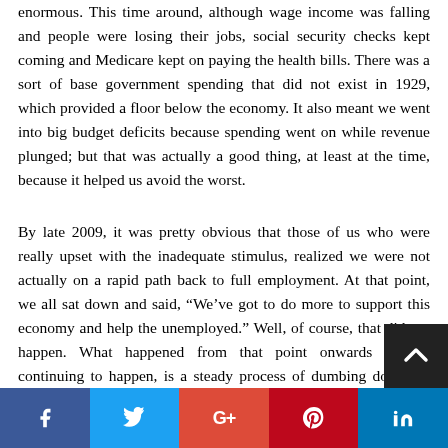enormous. This time around, although wage income was falling and people were losing their jobs, social security checks kept coming and Medicare kept on paying the health bills. There was a sort of base government spending that did not exist in 1929, which provided a floor below the economy. It also meant we went into big budget deficits because spending went on while revenue plunged; but that was actually a good thing, at least at the time, because it helped us avoid the worst.
By late 2009, it was pretty obvious that those of us who were really upset with the inadequate stimulus, realized we were not actually on a rapid path back to full employment. At that point, we all sat down and said, “We’ve got to do more to support this economy and help the unemployed.” Well, of course, that did not happen. What happened from that point onwards and is continuing to happen, is a steady process of dumbing down, of throwing away the things we were suppose...